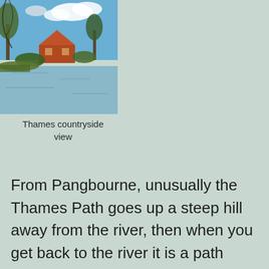[Figure (photo): A countryside view of a house along the River Thames, with trees, blue sky with clouds, and calm water in the foreground.]
Thames countryside view
From Pangbourne, unusually the Thames Path goes up a steep hill away from the river, then when you get back to the river it is a path parallel to and high above the river on a steep escarpment. At some point I passed a pillbox, which was from WW2 when the Thames was